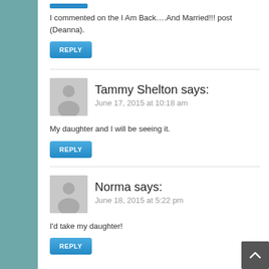I commented on the I Am Back….And Married!!! post (Deanna).
REPLY
Tammy Shelton says:
June 17, 2015 at 10:18 am
My daughter and I will be seeing it.
REPLY
Norma says:
June 18, 2015 at 5:22 pm
I'd take my daughter!
REPLY